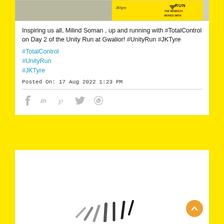[Figure (photo): Banner image of a person holding a JK Tyre Unity Run sign with text 'RUN', 'THE NEW INDIA MOVES WITH' on yellow background]
Inspiring us all, Milind Soman , up and running with #TotalControl on Day 2 of the Unity Run at Gwalior! #UnityRun #JKTyre
#TotalControl
#UnityRun
#JKTyre
Posted On: 17 Aug 2022 1:23 PM
[Figure (screenshot): Loading spinner graphic at bottom of page — radiating lines in gray/black indicating a loading state]